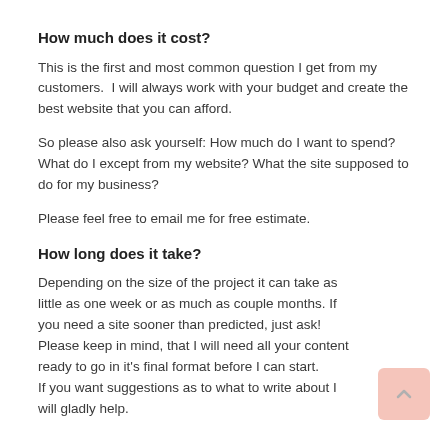How much does it cost?
This is the first and most common question I get from my customers.  I will always work with your budget and create the best website that you can afford.
So please also ask yourself: How much do I want to spend? What do I except from my website? What the site supposed to do for my business?
Please feel free to email me for free estimate.
How long does it take?
Depending on the size of the project it can take as little as one week or as much as couple months. If you need a site sooner than predicted, just ask!  Please keep in mind, that I will need all your content ready to go in it's final format before I can start.
If you want suggestions as to what to write about I will gladly help.